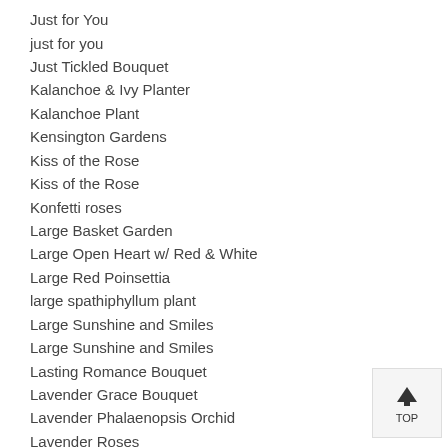Just for You
just for you
Just Tickled Bouquet
Kalanchoe & Ivy Planter
Kalanchoe Plant
Kensington Gardens
Kiss of the Rose
Kiss of the Rose
Konfetti roses
Large Basket Garden
Large Open Heart w/ Red & White
Large Red Poinsettia
large spathiphyllum plant
Large Sunshine and Smiles
Large Sunshine and Smiles
Lasting Romance Bouquet
Lavender Grace Bouquet
Lavender Phalaenopsis Orchid
Lavender Roses
Lavender Splendor Bouquet
Lavender Splendor Bouquet
Lavender Tulips
Lavish Love
Legendary Love Bouquet
Legendary Love Bouquet